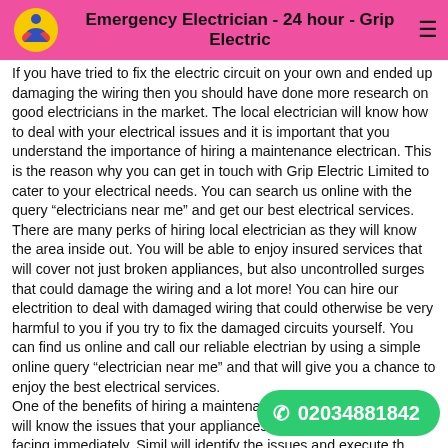Emergency Electrician - 24 hour - Grip Electric
If you have tried to fix the electric circuit on your own and ended up damaging the wiring then you should have done more research on good electricians in the market. The local electrician will know how to deal with your electrical issues and it is important that you understand the importance of hiring a maintenance electrican. This is the reason why you can get in touch with Grip Electric Limited to cater to your electrical needs. You can search us online with the query “electricians near me” and get our best electrical services. There are many perks of hiring local electrician as they will know the area inside out. You will be able to enjoy insured services that will cover not just broken appliances, but also uncontrolled surges that could damage the wiring and a lot more! You can hire our electrition to deal with damaged wiring that could otherwise be very harmful to you if you try to fix the damaged circuits yourself. You can find us online and call our reliable electrian by using a simple online query “electrician near me” and that will give you a chance to enjoy the best electrical services.
One of the benefits of hiring a maintenance electrcian is that they will know the issues that your appliances and electrical circuits are facing immediately. Simil… will identify the issues and execute the most efficient techniques to get your appliance in perfect shape. It
02034881842